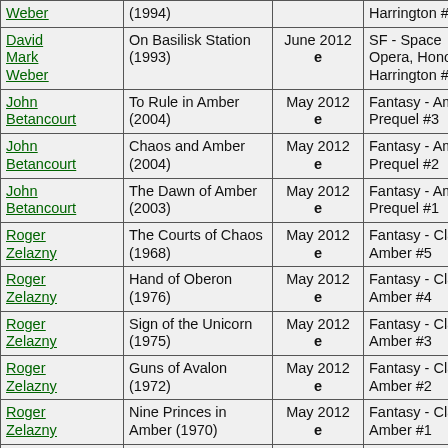| Author | Book | Date | Genre |
| --- | --- | --- | --- |
| Weber | (1994) |  | Harrington #2 |
| David Mark Weber | On Basilisk Station (1993) | June 2012 e | SF - Space Opera, Honor Harrington #1 |
| John Betancourt | To Rule in Amber (2004) | May 2012 e | Fantasy - Amber Prequel #3 |
| John Betancourt | Chaos and Amber (2004) | May 2012 e | Fantasy - Amber Prequel #2 |
| John Betancourt | The Dawn of Amber (2003) | May 2012 e | Fantasy - Amber Prequel #1 |
| Roger Zelazny | The Courts of Chaos (1968) | May 2012 e | Fantasy - Classic, Amber #5 |
| Roger Zelazny | Hand of Oberon (1976) | May 2012 e | Fantasy - Classic, Amber #4 |
| Roger Zelazny | Sign of the Unicorn (1975) | May 2012 e | Fantasy - Classic, Amber #3 |
| Roger Zelazny | Guns of Avalon (1972) | May 2012 e | Fantasy - Classic, Amber #2 |
| Roger Zelazny | Nine Princes in Amber (1970) | May 2012 e | Fantasy - Classic, Amber #1 |
|  |  |  | Fantasy - Medieval politics, ... |